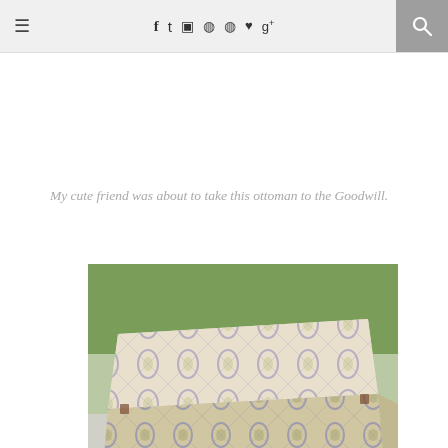≡ f t ⌷ ⊕ ⊕ ♥ g+ 🔍
My cute friend was about to take this ottoman to the Goodwill.
[Figure (photo): An upholstered ottoman with green and grey ikat fabric pattern, sitting on short dark wooden legs, photographed outdoors on grass/concrete.]